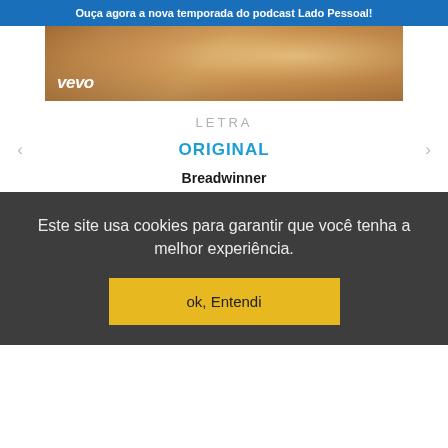Ouça agora a nova temporada do podcast Lado Pessoal!
[Figure (photo): Vevo music video thumbnail showing people in warm-toned setting with Vevo logo in bottom left]
LETRA
ORIGINAL
Breadwinner
Este site usa cookies para garantir que você tenha a melhor experiência.
ok, Entendi